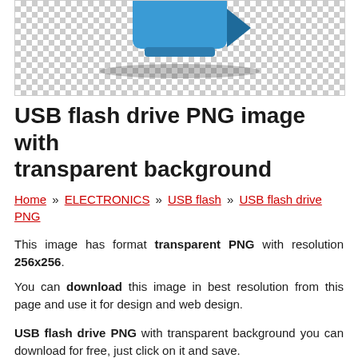[Figure (illustration): A USB flash drive icon with transparent (checkered) background, showing the blue plug top portion and a drop shadow below it.]
USB flash drive PNG image with transparent background
Home » ELECTRONICS » USB flash » USB flash drive PNG
This image has format transparent PNG with resolution 256x256.
You can download this image in best resolution from this page and use it for design and web design.
USB flash drive PNG with transparent background you can download for free, just click on it and save.